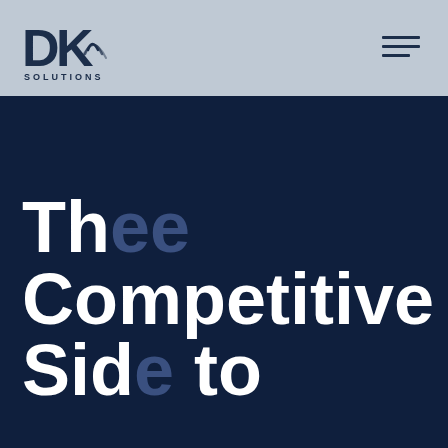[Figure (logo): DK Solutions logo — bold 'DK' letters with wifi/signal wave icon, text 'SOLUTIONS' below, dark navy blue color]
Thee Competitive Side to